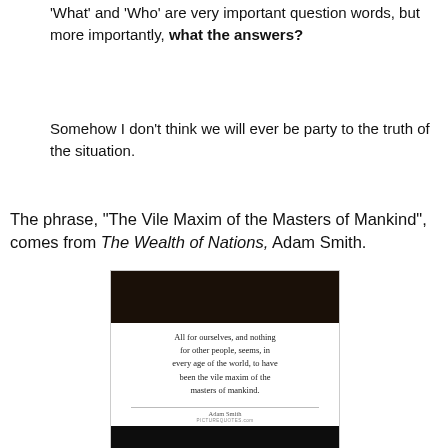'What' and 'Who' are very important question words, but more importantly, what the answers?
Somehow I don't think we will ever be party to the truth of the situation.
The phrase, "The Vile Maxim of the Masters of Mankind", comes from The Wealth of Nations, Adam Smith.
[Figure (illustration): A quote card image with a dark/black background photo at top, followed by a serif-font quote: 'All for ourselves, and nothing for other people, seems, in every age of the world, to have been the vile maxim of the masters of mankind.' attributed to Adam Smith, with PICTUREQUOTES.com below, and another dark image strip at the bottom.]